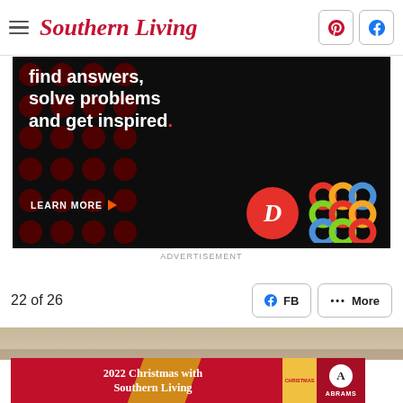Southern Living
[Figure (screenshot): Advertisement banner: dark background with red polka dots on the left, bold white text reading 'find answers, solve problems and get inspired.' with a red period, 'LEARN MORE' button with orange arrow, a red circular logo with white italic D, and a colorful interlocking rings logo.]
ADVERTISEMENT
22 of 26
[Figure (photo): Partial photo of food dish, brownish tones, holiday themed.]
[Figure (screenshot): Advertisement for '2022 Christmas with Southern Living' book published by Abrams, red background with gold diagonal stripe, book cover image on right, Abrams logo circle on far right.]